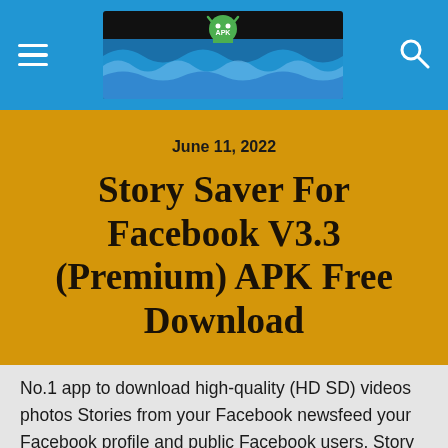APK website header with hamburger menu, banner logo, and search icon
June 11, 2022
Story Saver For Facebook V3.3 (Premium) APK Free Download
No.1 app to download high-quality (HD SD) videos photos Stories from your Facebook newsfeed your Facebook profile and public Facebook users. Story saver for Facebook v3.3 (Premium) APK Free Download Latest version for Android. Download full APK of Story saver for Facebook v3.3 (Premium).